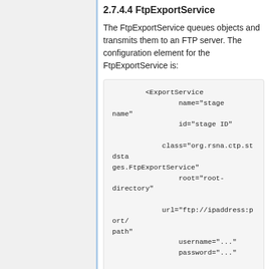2.7.4.4 FtpExportService
The FtpExportService queues objects and transmits them to an FTP server. The configuration element for the FtpExportService is:
<ExportService
                name="stage name"
                id="stage ID"

            class="org.rsna.ctp.stdstages.FtpExportService"
                root="root-directory"

            url="ftp://ipaddress:port/path"
                username="..."
                password="..."

            acceptDicomObjects="yes"